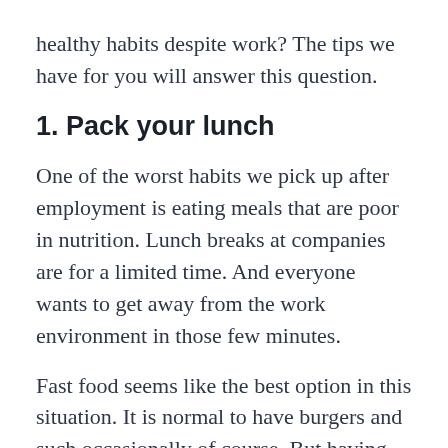healthy habits despite work? The tips we have for you will answer this question.
1. Pack your lunch
One of the worst habits we pick up after employment is eating meals that are poor in nutrition. Lunch breaks at companies are for a limited time. And everyone wants to get away from the work environment in those few minutes.
Fast food seems like the best option in this situation. It is normal to have burgers and such occasionally of course. But having